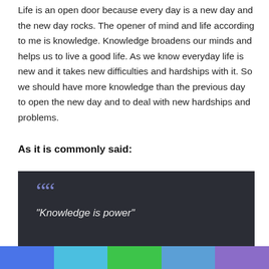Life is an open door because every day is a new day and the new day rocks. The opener of mind and life according to me is knowledge. Knowledge broadens our minds and helps us to live a good life. As we know everyday life is new and it takes new difficulties and hardships with it. So we should have more knowledge than the previous day to open the new day and to deal with new hardships and problems.
As it is commonly said:
[Figure (illustration): Dark background quote box with blue double quotation mark icon and italic text reading “Knowledge is power”]
[Figure (infographic): Horizontal color bar at the bottom with five colored segments: blue, light blue, green, medium blue, and purple]